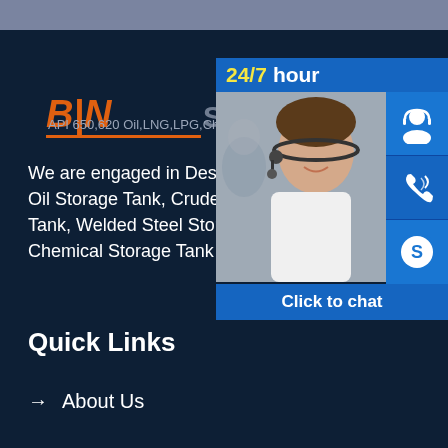[Figure (logo): BIN Storage Tanks logo with orange italic bold text and orange underline, followed by 'Storage tanks' in grey]
API 650,620 Oil,LNG,LPG,Chemical tank
We are engaged in Design, Fabrication, Oil Storage Tank, Crude Oil Storage Tank, Welded Steel Storage Tank, LNG, Chemical Storage Tank and so on.
[Figure (screenshot): Customer service chat panel with '24/7 hour' header, photo of customer service representative, phone icon, Skype icon, person icon, and 'Click to chat' button]
Quick Links
→ About Us